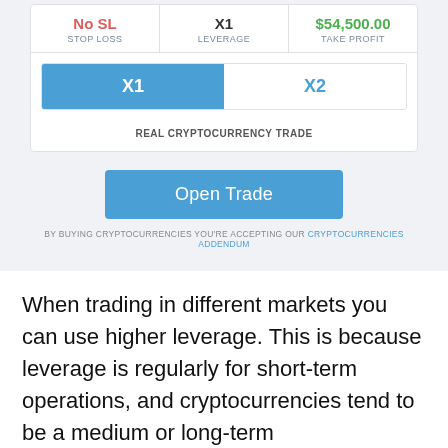[Figure (screenshot): Trading interface widget showing Stop Loss (No SL), Leverage (X1), Take Profit ($54,500.00), leverage selector buttons X1 (active) and X2, label 'REAL CRYPTOCURRENCY TRADE', Open Trade button, and disclaimer text about cryptocurrencies addendum.]
When trading in different markets you can use higher leverage. This is because leverage is regularly for short-term operations, and cryptocurrencies tend to be a medium or long-term